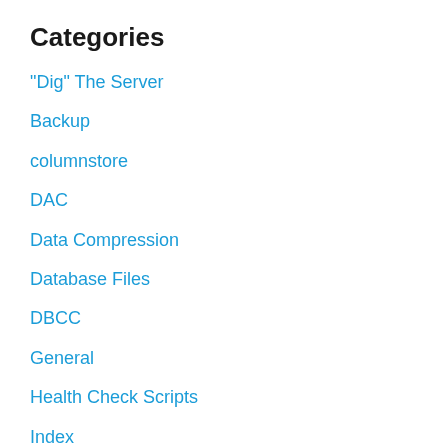Categories
"Dig" The Server
Backup
columnstore
DAC
Data Compression
Database Files
DBCC
General
Health Check Scripts
Index
InMemory
Log Shipping
Natively Compiled Stored Procedures